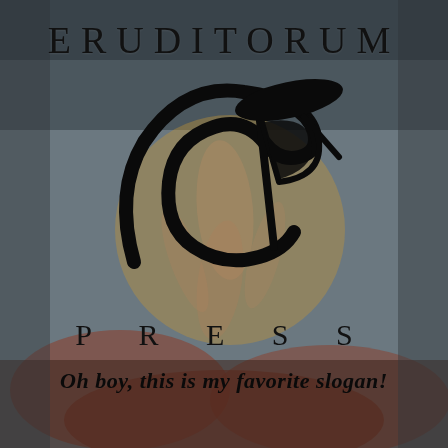ERUDITORUM
[Figure (logo): Eruditorum Press stylized 'EP' calligraphic logo in black over a painterly background featuring a human figure, warm golden circle, and cloudy reddish lower portion]
PRESS
Oh boy, this is my favorite slogan!